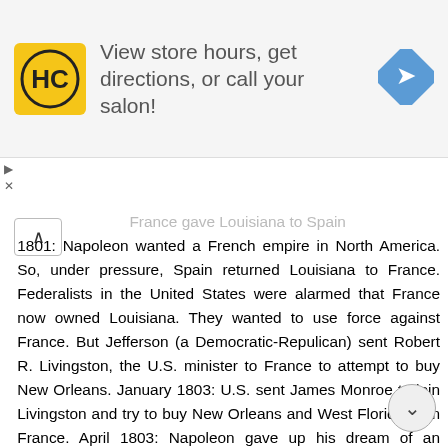[Figure (other): Advertisement banner for a hair salon chain (HC logo, 'View store hours, get directions, or call your salon!' text with navigation arrow icon)]
1801: Napoleon wanted a French empire in North America. So, under pressure, Spain returned Louisiana to France. Federalists in the United States were alarmed that France now owned Louisiana. They wanted to use force against France. But Jefferson (a Democratic-Repulican) sent Robert R. Livingston, the U.S. minister to France to attempt to buy New Orleans. January 1803: U.S. sent James Monroe to join Livingston and try to buy New Orleans and West Florida from France. April 1803: Napoleon gave up his dream of an American empire because he was overwhelmed by the slave revolt in Haiti and also wanted to go to war with Britain. The French offered Livingston and Monroe all of Louisiana (not just New Orleans). Livingston and Monroe signed a treaty. For roughly $15 million, the U.S. acquired some 828,000 square miles of land, doubling the national territory of the United States. October 1803: The Senate ratified the treaty and in